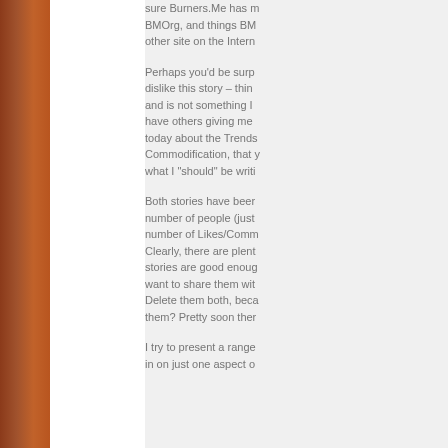sure Burners.Me has m BMOrg, and things BM other site on the Intern
Perhaps you'd be surp dislike this story – thin and is not something I have others giving me today about the Trends Commodification, that y what I "should" be writi
Both stories have beer number of people (just number of Likes/Comm Clearly, there are plent stories are good enoug want to share them wit Delete them both, beca them? Pretty soon ther
I try to present a range in on just one aspect o